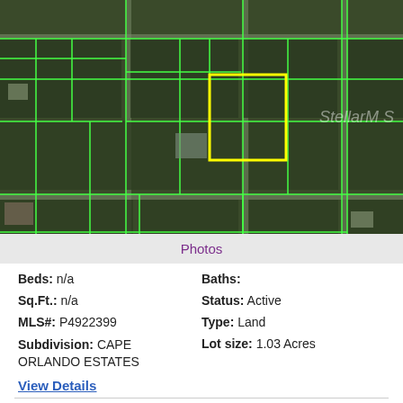[Figure (map): Aerial satellite map view showing land parcels outlined in green with one highlighted parcel outlined in yellow, located in Cape Orlando Estates. Watermark reads 'StellarMLS'.]
Photos
Beds: n/a
Baths:
Sq.Ft.: n/a
Status: Active
MLS#: P4922399
Type: Land
Subdivision: CAPE ORLANDO ESTATES
Lot size: 1.03 Acres
View Details
Contact: Inquire About This Property